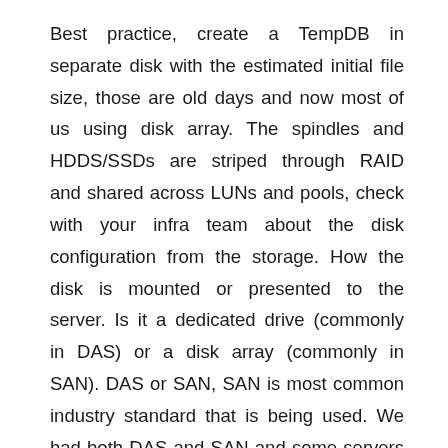Best practice, create a TempDB in separate disk with the estimated initial file size, those are old days and now most of us using disk array. The spindles and HDDS/SSDs are striped through RAID and shared across LUNs and pools, check with your infra team about the disk configuration from the storage. How the disk is mounted or presented to the server. Is it a dedicated drive (commonly in DAS) or a disk array (commonly in SAN). DAS or SAN, SAN is most common industry standard that is being used. We had both DAS and SAN and some servers local SSDs are mounted only for tempdb, it depends on the database application. Definitely a RAID level has been used, check with that as well. A common recommendation will be RAID 1+0, which is costly. It is always good to know, what kind of storage and storage vendor, we are using it to plan and test that perfectly. Some servers we use advanced Automated